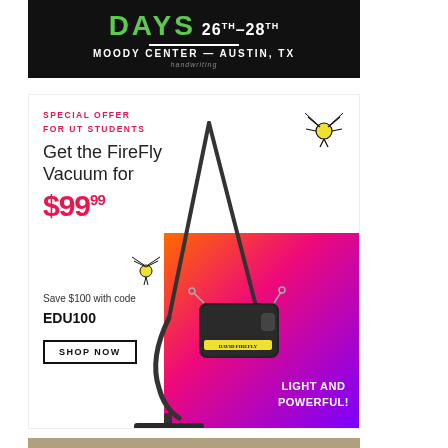[Figure (illustration): Event banner ad for 'Days' event, 26th–28th, Moody Center — Austin, TX. Dark background with green 'DAYS' text and white text.]
[Figure (illustration): Advertisement for David FireFly Vacuum. Special offer for UT Students. Get the FireFly Vacuum for $99.99. Save $100 with code EDU100. Shop Now button. Vacuum product image on right side with gradient purple/orange/pink background. 'Light and Powerful!' text. Firefly doodle illustrations.]
[Figure (photo): Partial photo at bottom showing a person wearing a hat, with green landscape/trees and grey sky in background.]